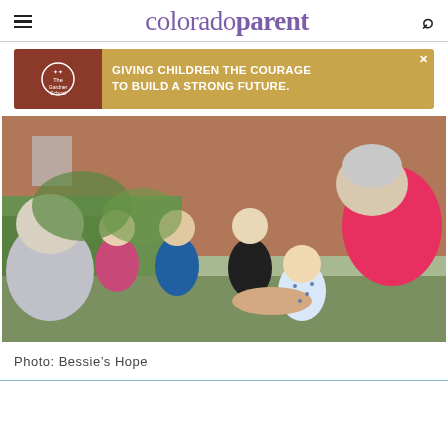colorado parent
[Figure (infographic): Advertisement banner for The Gardner School with text: GIVING CHILDREN THE COURAGE TO BUILD A STRONG FUTURE.]
[Figure (photo): Outdoor photo showing an elderly woman in a pink top bending down toward a group of young children gathering around her hands, with a brick building in the background. Photo credit: Bessie's Hope.]
Photo: Bessie's Hope